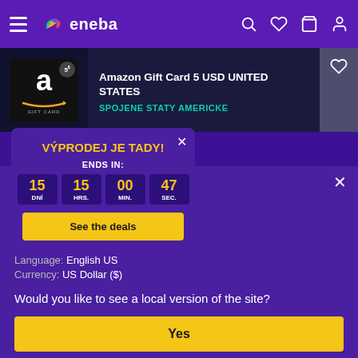eneba
[Figure (screenshot): Amazon Gift Card 5 USD product card with Amazon logo and wishlist icon]
Amazon Gift Card 5 USD UNITED STATES
SPOJENE STATY AMERICKE
VÝPRODEJ JE TADY!
ENDS IN: 15 DNÍ 15 HRS. 00 MIN. 47 SEC.
See the deals
United States of America
Language: English US
Currency: US Dollar ($)
Would you like to see a local version of the site?
Yes